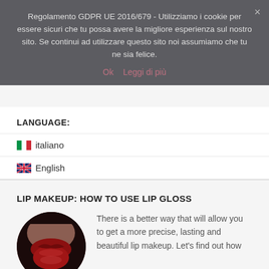Regolamento GDPR UE 2016/679 - Utilizziamo i cookie per essere sicuri che tu possa avere la migliore esperienza sul nostro sito. Se continui ad utilizzare questo sito noi assumiamo che tu ne sia felice.
Ok  Leggi di più
LANGUAGE:
Italiano
English
LIP MAKEUP: HOW TO USE LIP GLOSS
[Figure (photo): Circular cropped photo of red lips with dark background]
There is a better way that will allow you to get a more precise, lasting and beautiful lip makeup. Let's find out how